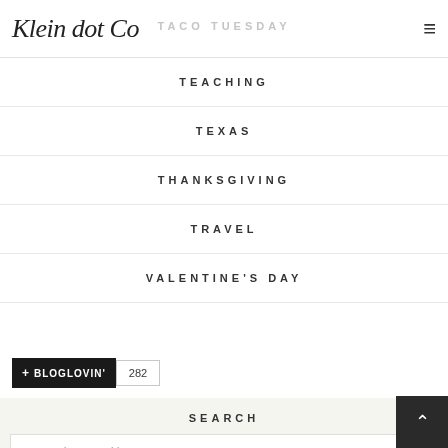Klein dot Co
TACO TUESDAY
TEACHING
TEXAS
THANKSGIVING
TRAVEL
VALENTINE'S DAY
+ BLOGLOVIN'  282
SEARCH
To search type and hit enter